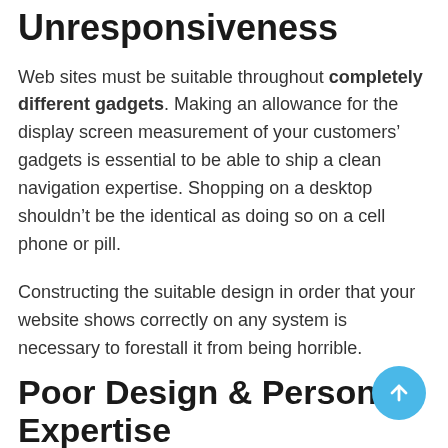Unresponsiveness
Web sites must be suitable throughout completely different gadgets. Making an allowance for the display screen measurement of your customers’ gadgets is essential to be able to ship a clean navigation expertise. Shopping on a desktop shouldn’t be the identical as doing so on a cell phone or pill.
Constructing the suitable design in order that your website shows correctly on any system is necessary to forestall it from being horrible.
Poor Design & Person Expertise
A poorly designed web site is not going to solely get you into hassle by way of web optimization. It can